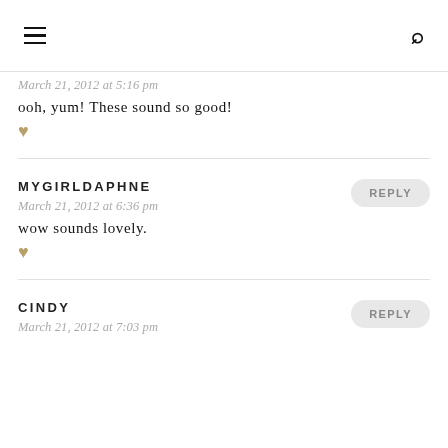March 21, 2012 at 5:16 pm
ooh, yum! These sound so good!
MYGIRLDAPHNE
REPLY
March 21, 2012 at 6:36 pm
wow sounds lovely.
CINDY
REPLY
March 21, 2012 at 7:03 pm